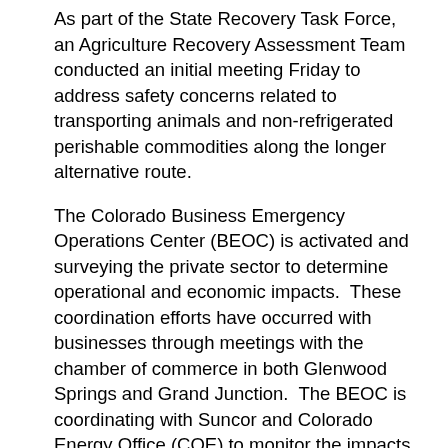As part of the State Recovery Task Force, an Agriculture Recovery Assessment Team conducted an initial meeting Friday to address safety concerns related to transporting animals and non-refrigerated perishable commodities along the longer alternative route.
The Colorado Business Emergency Operations Center (BEOC) is activated and surveying the private sector to determine operational and economic impacts.  These coordination efforts have occurred with businesses through meetings with the chamber of commerce in both Glenwood Springs and Grand Junction.  The BEOC is coordinating with Suncor and Colorado Energy Office (COE) to monitor the impacts of operations and verify the current fuel supply status across the state.  An economic impact report for western slope producers is expected by August 11.   The Colorado BEOC is coordinating the response to future closure incidents through a fuel and rail working group that includes DHSEM, COE, Suncor and rail partners.  Additionally, the Colorado BEOC is working with the Agriculture Recovery Assessment Team to identify economic impacts to producers due to the I-70 closure.